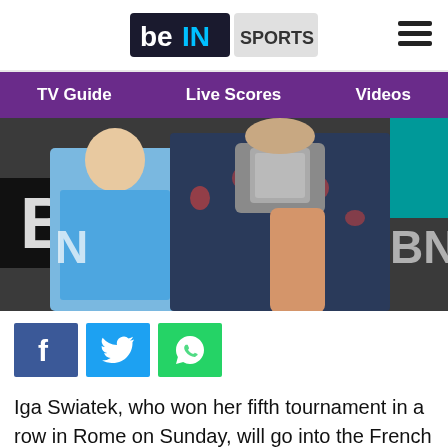beIN SPORTS
[Figure (logo): beIN SPORTS logo with hamburger menu icon]
TV Guide  Live Scores  Videos
[Figure (photo): A tennis player holding a trophy, wearing a dark floral sleeveless outfit, with another player in a blue shirt visible in the background at what appears to be the Rome tennis tournament.]
[Figure (infographic): Three social share buttons: Facebook (dark blue with f icon), Twitter (light blue with bird icon), WhatsApp (green with phone icon)]
Iga Swiatek, who won her fifth tournament in a row in Rome on Sunday, will go into the French Open as top seed after consolidating her place as world number one on Monday.